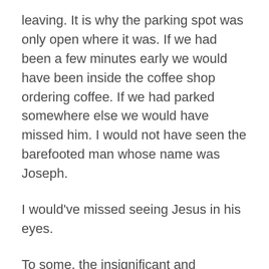leaving. It is why the parking spot was only open where it was. If we had been a few minutes early we would have been inside the coffee shop ordering coffee. If we had parked somewhere else we would have missed him. I would not have seen the barefooted man whose name was Joseph.
I would've missed seeing Jesus in his eyes.
To some, the insignificant and inconvenient mishaps prior would've just been frustrating. But it dawned on me that God wanted Joseph to know that he was not overlooked or forgotten.
Joseph, I hope that you know that you are loved...